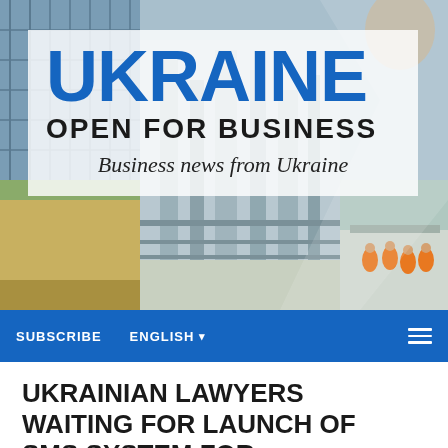[Figure (photo): Composite header photo showing industrial/construction scenes with scaffolding, grain fields, and workers in orange safety gear]
UKRAINE
OPEN FOR BUSINESS
Business news from Ukraine
SUBSCRIBE   ENGLISH ▾
UKRAINIAN LAWYERS WAITING FOR LAUNCH OF SMS SYSTEM FOR